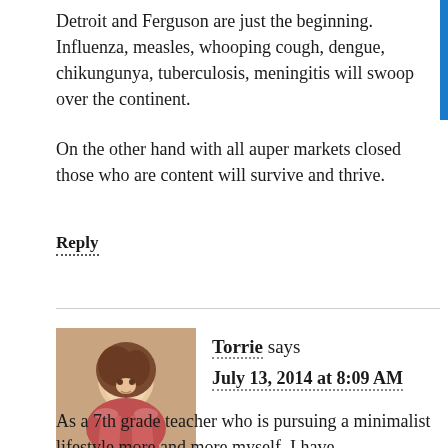Detroit and Ferguson are just the beginning. Influenza, measles, whooping cough, dengue, chikungunya, tuberculosis, meningitis will swoop over the continent.
On the other hand with all auper markets closed those who are content will survive and thrive.
Reply
Torrie says
July 13, 2014 at 8:09 AM
As a 7th grade teacher who is pursuing a minimalist lifestyle more and more myself, I have